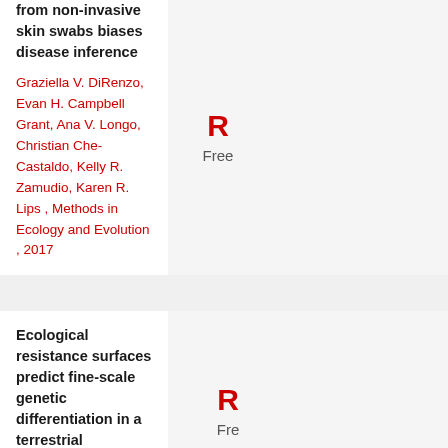from non-invasive skin swabs biases disease inference
Graziella V. DiRenzo, Evan H. Campbell Grant, Ana V. Longo, Christian Che-Castaldo, Kelly R. Zamudio, Karen R. Lips , Methods in Ecology and Evolution , 2017
Ecological resistance surfaces predict fine-scale genetic differentiation in a terrestrial woodland salamander
William E. Peterman, Grant M. Connette,